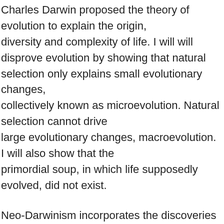Charles Darwin proposed the theory of evolution to explain the origin, diversity and complexity of life. I will will disprove evolution by showing that natural selection only explains small evolutionary changes, collectively known as microevolution. Natural selection cannot drive large evolutionary changes, macroevolution. I will also show that the primordial soup, in which life supposedly evolved, did not exist.
Neo-Darwinism incorporates the discoveries of modern science into Darwin\'s original theory while leaving the basic beliefs intact.